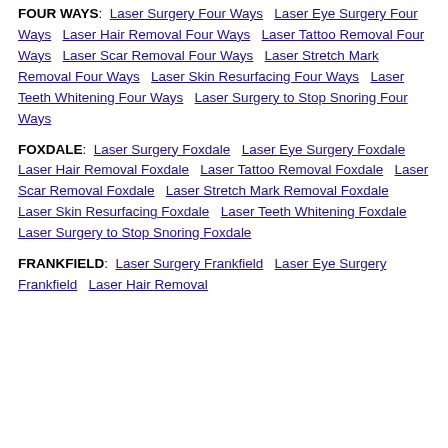FOUR WAYS: Laser Surgery Four Ways  Laser Eye Surgery Four Ways   Laser Hair Removal Four Ways   Laser Tattoo Removal Four Ways   Laser Scar Removal Four Ways   Laser Stretch Mark Removal Four Ways   Laser Skin Resurfacing Four Ways   Laser Teeth Whitening Four Ways   Laser Surgery to Stop Snoring Four Ways
FOXDALE: Laser Surgery Foxdale  Laser Eye Surgery Foxdale   Laser Hair Removal Foxdale   Laser Tattoo Removal Foxdale   Laser Scar Removal Foxdale   Laser Stretch Mark Removal Foxdale   Laser Skin Resurfacing Foxdale   Laser Teeth Whitening Foxdale   Laser Surgery to Stop Snoring Foxdale
FRANKFIELD: Laser Surgery Frankfield  Laser Eye Surgery Frankfield   Laser Hair Removal